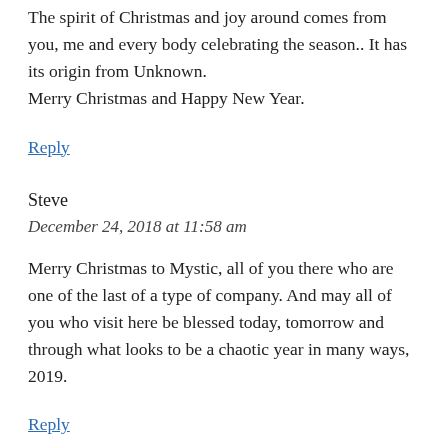The spirit of Christmas and joy around comes from you, me and every body celebrating the season.. It has its origin from Unknown.
Merry Christmas and Happy New Year.
Reply
Steve
December 24, 2018 at 11:58 am
Merry Christmas to Mystic, all of you there who are one of the last of a type of company. And may all of you who visit here be blessed today, tomorrow and through what looks to be a chaotic year in many ways, 2019.
Reply